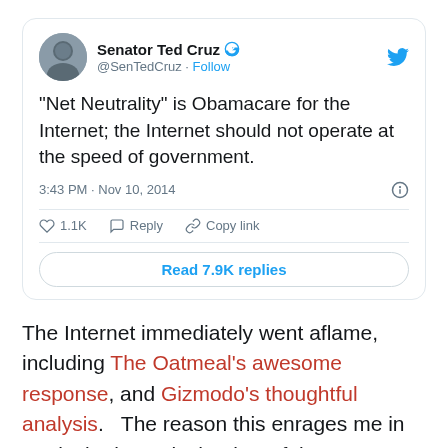[Figure (screenshot): Embedded tweet from Senator Ted Cruz (@SenTedCuz) saying: "Net Neutrality" is Obamacare for the Internet; the Internet should not operate at the speed of government. Posted 3:43 PM · Nov 10, 2014. Interaction counts: 1.1K likes, Reply, Copy link. Read 7.9K replies button.]
The Internet immediately went aflame, including The Oatmeal's awesome response, and Gizmodo's thoughtful analysis.   The reason this enrages me in particular is partly that it's a false equivalency:  Net neutrality doesn't equate to a government takeover of